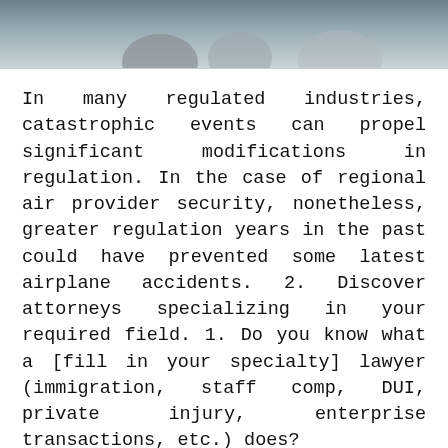[Figure (photo): Cropped photo of people in a meeting or consultation setting, partially visible at the top of the page.]
In many regulated industries, catastrophic events can propel significant modifications in regulation. In the case of regional air provider security, nonetheless, greater regulation years in the past could have prevented some latest airplane accidents. 2. Discover attorneys specializing in your required field. 1. Do you know what a [fill in your specialty] lawyer (immigration, staff comp, DUI, private injury, enterprise transactions, etc.) does?
You should be prepared to attending conferences together with your lawyer to type out your scenario and decide on a course of action. In case you're filing a